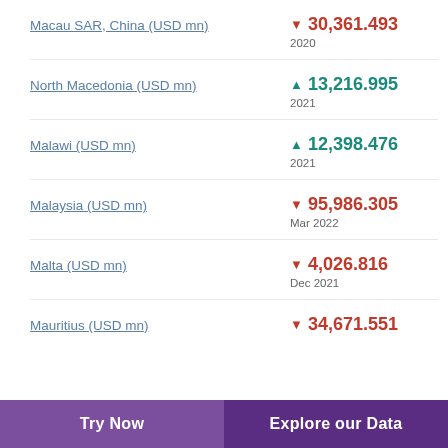Macau SAR, China (USD mn) ▼ 30,361.493 2020
North Macedonia (USD mn) ▲ 13,216.995 2021
Malawi (USD mn) ▲ 12,398.476 2021
Malaysia (USD mn) ▼ 95,986.305 Mar 2022
Malta (USD mn) ▼ 4,026.816 Dec 2021
Mauritius (USD mn) ▼ 34,671.551
Try Now  |  Explore our Data